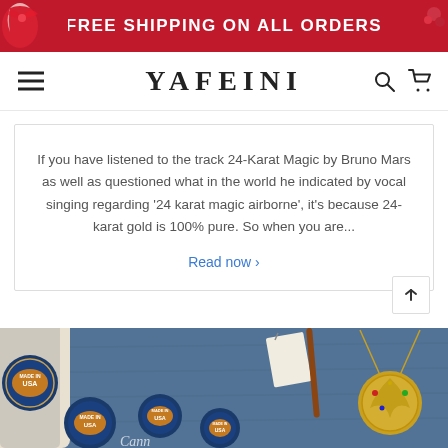FREE SHIPPING ON ALL ORDERS
YAFEINI
If you have listened to the track 24-Karat Magic by Bruno Mars as well as questioned what in the world he indicated by vocal singing regarding '24 karat magic airborne', it's because 24-karat gold is 100% pure. So when you are...
Read now ›
[Figure (photo): Product photo showing circular 'Made in USA' stickers on a roll and scattered on a dark blue surface, with jewelry items including a gold ornate pendant on a chain visible to the right.]